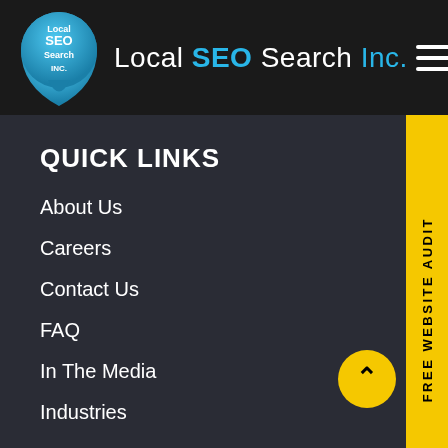[Figure (logo): Local SEO Search Inc. logo with blue location pin shape containing white text 'Local SEO Search INC.' and company name 'Local SEO Search Inc.' in white and cyan, with hamburger menu icon on the right]
QUICK LINKS
About Us
Careers
Contact Us
FAQ
In The Media
Industries